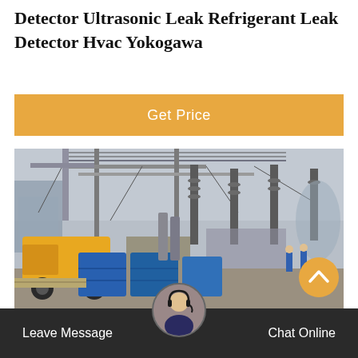Detector Ultrasonic Leak Refrigerant Leak Detector Hvac Yokogawa
Get Price
[Figure (photo): Industrial electrical substation with high-voltage equipment, transformer towers, insulator columns, overhead lines, a yellow utility truck and blue containers/barrels in the foreground.]
Leave Message
Chat Online